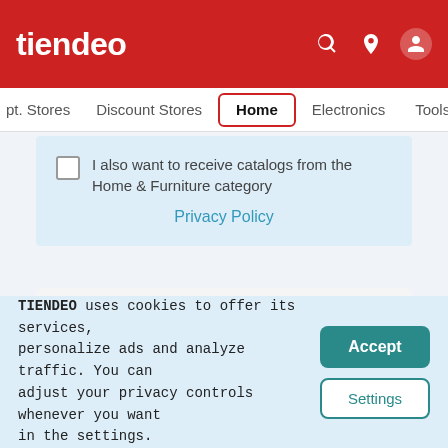tiendeo
pt. Stores   Discount Stores   Home   Electronics   Tools   Toys
I also want to receive catalogs from the Home & Furniture category
Privacy Policy
Other Home & Furniture stores in Dallas TX
[Figure (logo): Hobby Lobby logo]
[Figure (logo): IKEA logo]
[Figure (logo): HomeGoods logo]
TIENDEO uses cookies to offer its services, personalize ads and analyze traffic. You can adjust your privacy controls whenever you want in the settings.